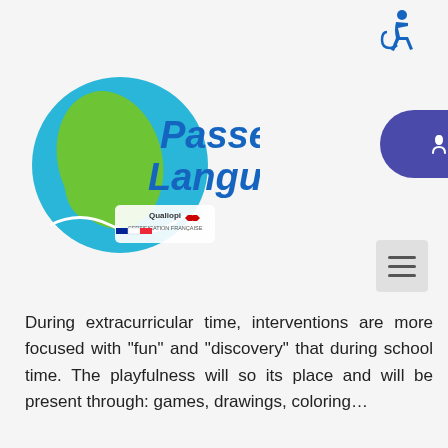[Figure (logo): Passe-Langues logo with globe and Qualiopi certification badge, plus Espace personnel button and accessibility icon]
During extracurricular time, interventions are more focused with “fun” and “discovery” that during school time. The playfulness will so its place and will be present through: games, drawings, coloring…